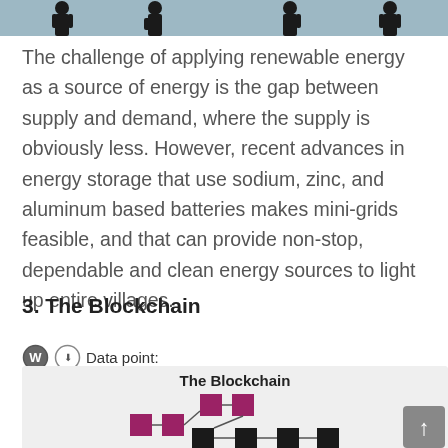[Figure (photo): Top banner image showing dark silhouettes against a blue-grey sky background]
The challenge of applying renewable energy as a source of energy is the gap between supply and demand, where the supply is obviously less. However, recent advances in energy storage that use sodium, zinc, and aluminum based batteries makes mini-grids feasible, and that can provide non-stop, dependable and clean energy sources to light up entire villages.
3. The Blockchain
Data point:
[Figure (network-graph): Network diagram titled 'The Blockchain' showing interconnected pink/magenta and black square nodes connected by lines, representing a blockchain network structure]